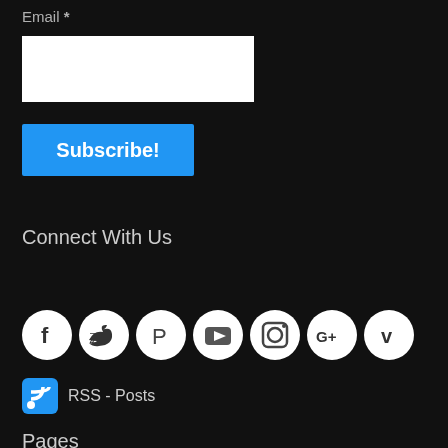Email *
[Figure (other): White text input box for email]
Subscribe!
Connect With Us
[Figure (other): Row of 7 social media icon circles: Facebook (f), Twitter (bird), Pinterest (p), YouTube (yt), Instagram (camera), Google+ (G+), Vimeo (v)]
RSS - Posts
Pages
Home